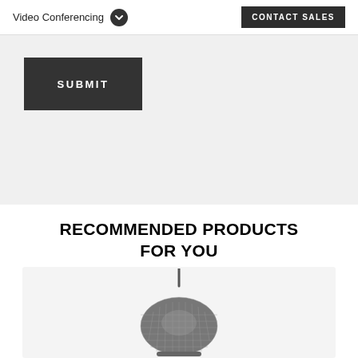Video Conferencing | CONTACT SALES
SUBMIT
RECOMMENDED PRODUCTS FOR YOU
[Figure (photo): A circular conference room speakerphone/microphone device with a mesh grille, photographed on a light gray background]